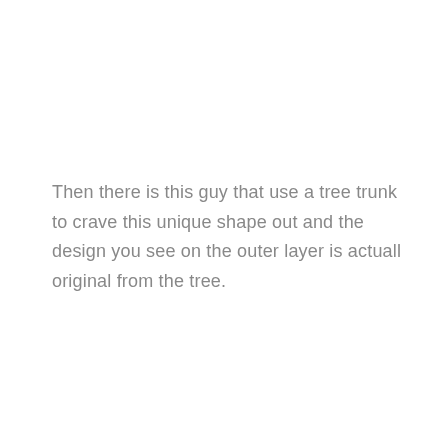Then there is this guy that use a tree trunk to crave this unique shape out and the design you see on the outer layer is actuall original from the tree.